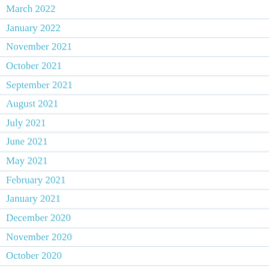March 2022
January 2022
November 2021
October 2021
September 2021
August 2021
July 2021
June 2021
May 2021
February 2021
January 2021
December 2020
November 2020
October 2020
September 2020
August 2020
June 2020
May 2020